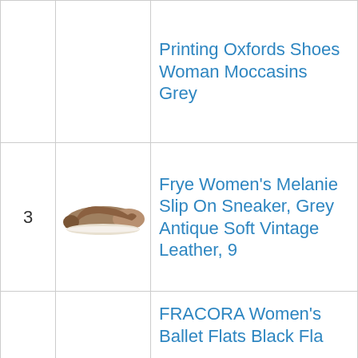| # | Image | Product Name |
| --- | --- | --- |
|  |  | Printing Oxfords Shoes Woman Moccasins Grey |
| 3 | [shoe image] | Frye Women's Melanie Slip On Sneaker, Grey Antique Soft Vintage Leather, 9 |
|  |  | FRACORA Women's Ballet Flats Black Fla... |